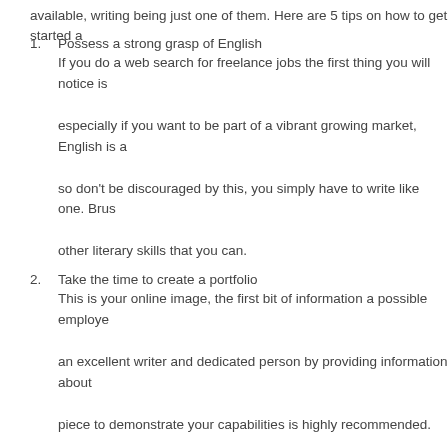available, writing being just one of them. Here are 5 tips on how to get started a
1. Possess a strong grasp of English
If you do a web search for freelance jobs the first thing you will notice is especially if you want to be part of a vibrant growing market, English is a so don't be discouraged by this, you simply have to write like one. Brus other literary skills that you can.
2. Take the time to create a portfolio
This is your online image, the first bit of information a possible employe an excellent writer and dedicated person by providing information about piece to demonstrate your capabilities is highly recommended.
3. Register with a host company
Use any search engine to perform a search for a freelance host compar suits your needs. Information on tax rates and payment arrangements a
4. Do not be picky
To acquire a job, you usually have to bid for them as they are posted, a freelancer from all the applicants so at first it can be a little tough. Don't what right now is the experience and a good reputation.
5. Work hard